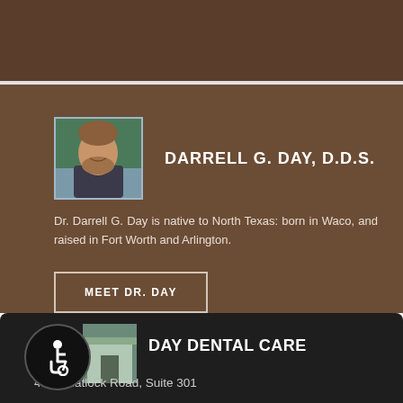[Figure (photo): Top brown banner area of dental practice website]
DARRELL G. DAY, D.D.S.
[Figure (photo): Headshot photo of Dr. Darrell G. Day]
Dr. Darrell G. Day is native to North Texas: born in Waco, and raised in Fort Worth and Arlington.
MEET DR. DAY
DAY DENTAL CARE
[Figure (photo): Clinic photo thumbnail with accessibility wheelchair icon]
4501 Matlock Road, Suite 301